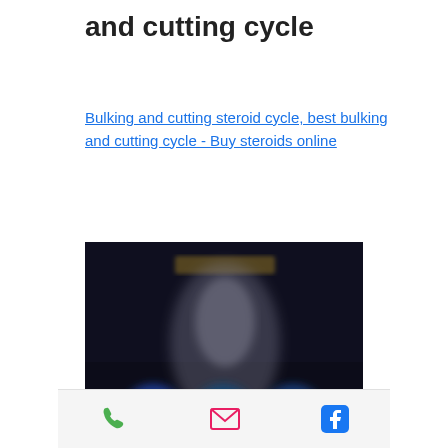and cutting cycle
Bulking and cutting steroid cycle, best bulking and cutting cycle - Buy steroids online
[Figure (photo): Blurred dark image of a muscular figure with colorful supplement product containers in the foreground, on a dark background with golden text logo at top.]
Phone | Email | Facebook